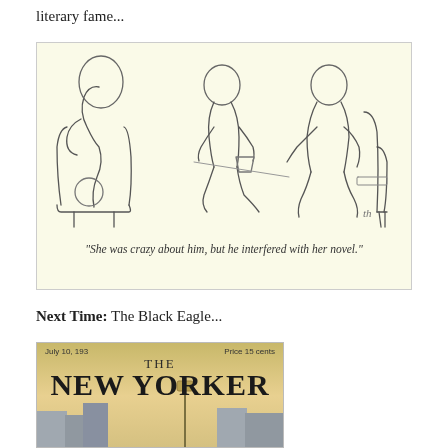literary fame...
[Figure (illustration): A New Yorker-style cartoon showing two figures seated at a low table facing each other, with a third figure (back turned) seated in a chair on the left. The figures are drawn in a loose, minimalist line style. Caption reads: "She was crazy about him, but he interfered with her novel."]
“She was crazy about him, but he interfered with her novel.”
Next Time: The Black Eagle...
[Figure (photo): Cover of The New Yorker magazine, dated July 10, 1930-something, price 15 cents. Shows the magazine title in large bold serif font with a city street scene at dusk in the background.]